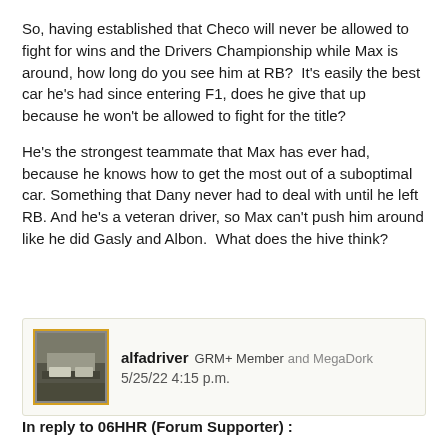So, having established that Checo will never be allowed to fight for wins and the Drivers Championship while Max is around, how long do you see him at RB?  It's easily the best car he's had since entering F1, does he give that up because he won't be allowed to fight for the title?
He's the strongest teammate that Max has ever had, because he knows how to get the most out of a suboptimal car. Something that Dany never had to deal with until he left RB. And he's a veteran driver, so Max can't push him around like he did Gasly and Albon.  What does the hive think?
alfadriver GRM+ Member and MegaDork
5/25/22 4:15 p.m.
In reply to 06HHR (Forum Supporter) :